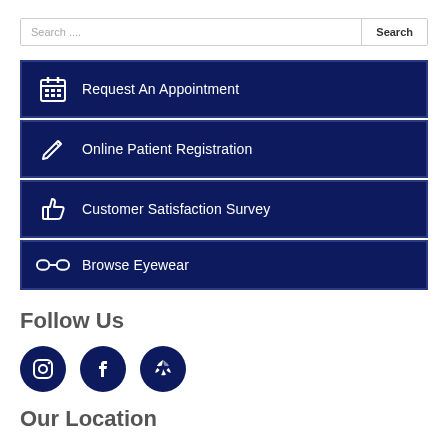Search ....
Request An Appointment
Online Patient Registration
Customer Satisfaction Survey
Browse Eyewear
Follow Us
[Figure (illustration): Three social media icons: Instagram, Facebook, Yelp]
Our Location